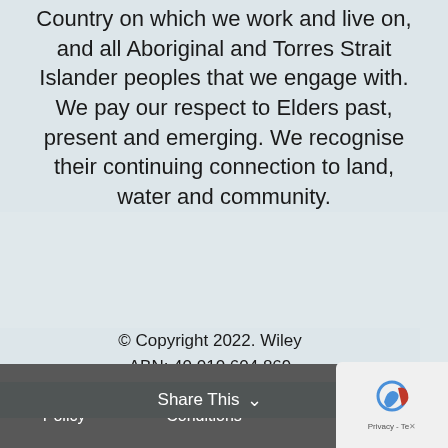Country on which we work and live on, and all Aboriginal and Torres Strait Islander peoples that we engage with. We pay our respect to Elders past, present and emerging. We recognise their continuing connection to land, water and community.
© Copyright 2022. Wiley ABN: 40 010 604 869
Privacy Policy | Terms & Conditions | Certifications Policies